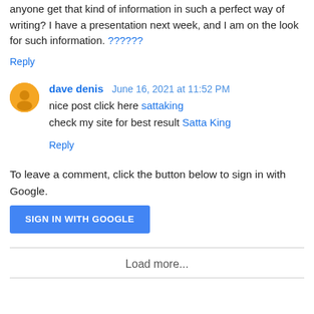anyone get that kind of information in such a perfect way of writing? I have a presentation next week, and I am on the look for such information. ??????
Reply
dave denis  June 16, 2021 at 11:52 PM
nice post click here sattaking
check my site for best result Satta King
Reply
To leave a comment, click the button below to sign in with Google.
SIGN IN WITH GOOGLE
Load more...